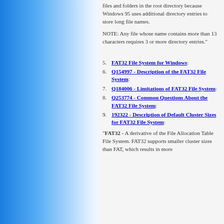files and folders in the root directory because Windows 95 uses additional directory entries to store long file names.
NOTE: Any file whose name contains more than 13 characters requires 3 or more directory entries."
5. FAT32 File System for Windows:
6. Q154997 - Description of the FAT32 File System:
7. Q184006 - Limitations of FAT32 File System:
8. Q253774 - Common Questions About the FAT32 File System:
9. 192322 - Description of Default Cluster Sizes for FAT32 File System:
"FAT32 - A derivative of the File Allocation Table File System. FAT32 supports smaller cluster sizes than FAT, which results in more